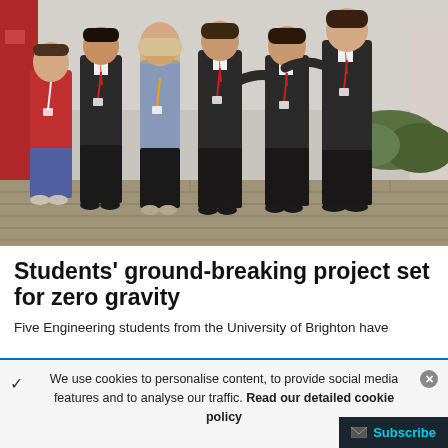[Figure (photo): Group photo of five engineering students and possibly a supervisor standing outdoors in front of a building with red walls, wearing lanyards/badges, on a brick-paved area with hedges visible in the background.]
Students' ground-breaking project set for zero gravity
Five Engineering students from the University of Brighton have
We use cookies to personalise content, to provide social media features and to analyse our traffic. Read our detailed cookie policy